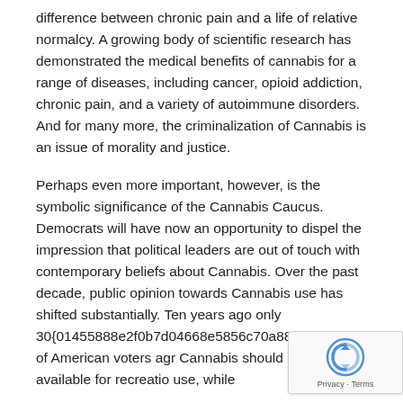difference between chronic pain and a life of relative normalcy. A growing body of scientific research has demonstrated the medical benefits of cannabis for a range of diseases, including cancer, opioid addiction, chronic pain, and a variety of autoimmune disorders. And for many more, the criminalization of Cannabis is an issue of morality and justice.
Perhaps even more important, however, is the symbolic significance of the Cannabis Caucus. Democrats will have now an opportunity to dispel the impression that political leaders are out of touch with contemporary beliefs about Cannabis. Over the past decade, public opinion towards Cannabis use has shifted substantially. Ten years ago only 30{01455888e2f0b7d04668e5856c70a88946582713670d769b7c021b89f026e8f9} of American voters agr Cannabis should be legally available for recreatio use, while